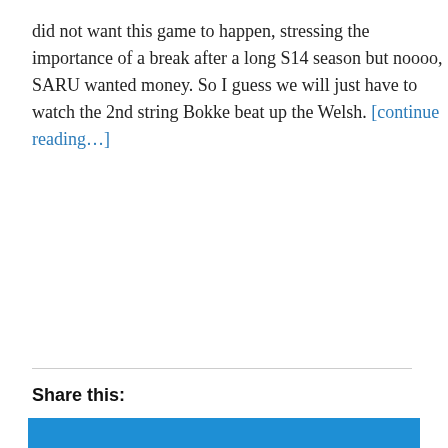did not want this game to happen, stressing the importance of a break after a long S14 season but noooo, SARU wanted money. So I guess we will just have to watch the 2nd string Bokke beat up the Welsh. [continue reading…]
Share this:
[Figure (other): Social share icons: Facebook, Twitter, Reddit, Email]
Loading
Privacy & Cookies: This site uses cookies. By continuing to use this website, you agree to their use.
To find out more, including how to control cookies, see here: Cookie Policy
Close and accept